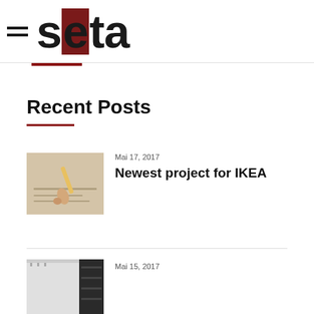[Figure (logo): SETA logo with hamburger menu icon. Black bold letters 's', 'e', 't', 'a' where 'e' has a dark red/maroon background highlight. Two horizontal lines (hamburger menu) to the left.]
Recent Posts
[Figure (photo): Close-up of hands drawing architectural or technical plans with a pencil, with a measuring tape visible.]
Mai 17, 2017
Newest project for IKEA
[Figure (photo): Interior room photo showing a white wall with a dark shelving unit or display structure.]
Mai 15, 2017